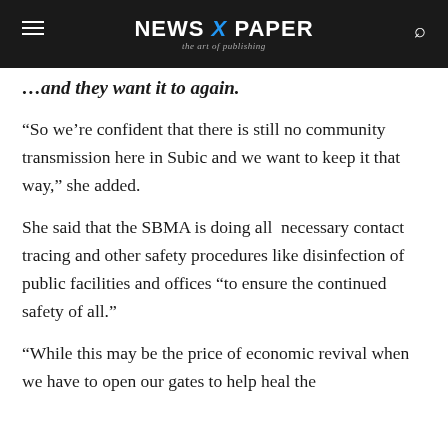NEWS X PAPER — the art of publishing
…and they want it to again.
“So we’re confident that there is still no community transmission here in Subic and we want to keep it that way,” she added.
She said that the SBMA is doing all necessary contact tracing and other safety procedures like disinfection of public facilities and offices “to ensure the continued safety of all.”
“While this may be the price of economic revival when we have to open our gates to help heal the